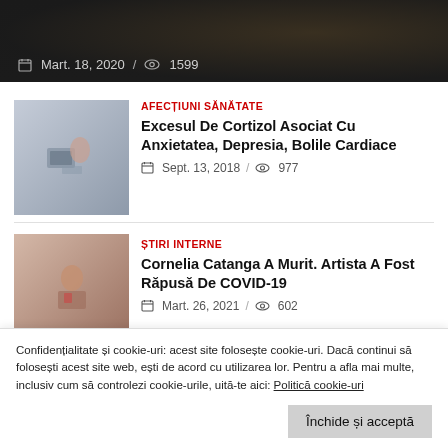[Figure (photo): Dark background image with date and view count metadata: Mart. 18, 2020 / 1599]
Mart. 18, 2020 / 1599
AFECȚIUNI SĂNĂTATE
Excesul De Cortizol Asociat Cu Anxietatea, Depresia, Bolile Cardiace
Sept. 13, 2018 / 977
[Figure (photo): Thumbnail image for first article showing a person at a computer]
ȘTIRI INTERNE
Cornelia Catanga A Murit. Artista A Fost Răpusă De COVID-19
Mart. 26, 2021 / 602
[Figure (photo): Thumbnail image for second article showing a woman]
Confidențialitate și cookie-uri: acest site folosește cookie-uri. Dacă continui să folosești acest site web, ești de acord cu utilizarea lor. Pentru a afla mai multe, inclusiv cum să controlezi cookie-urile, uită-te aici: Politică cookie-uri
Închide și acceptă